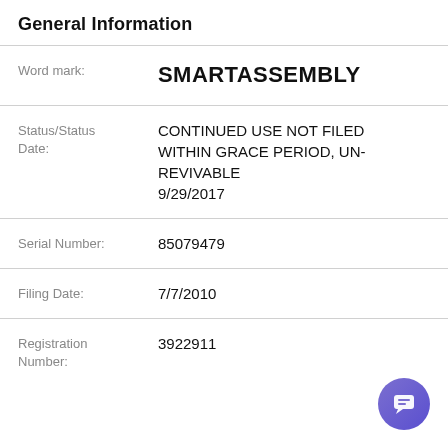General Information
Word mark: SMARTASSEMBLY
Status/Status Date: CONTINUED USE NOT FILED WITHIN GRACE PERIOD, UN-REVIVABLE 9/29/2017
Serial Number: 85079479
Filing Date: 7/7/2010
Registration Number: 3922911